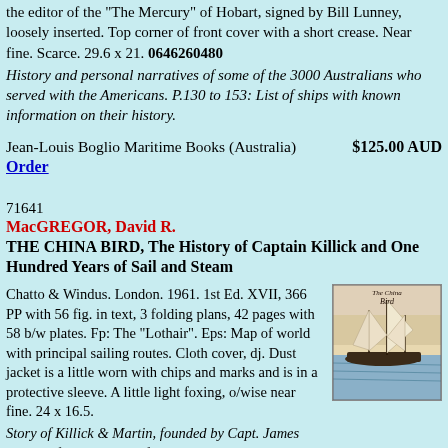the editor of the "The Mercury" of Hobart, signed by Bill Lunney, loosely inserted. Top corner of front cover with a short crease. Near fine. Scarce. 29.6 x 21. 0646260480
History and personal narratives of some of the 3000 Australians who served with the Americans. P.130 to 153: List of ships with known information on their history.
Jean-Louis Boglio Maritime Books (Australia)    $125.00 AUD
Order
71641
MacGREGOR, David R.
THE CHINA BIRD, The History of Captain Killick and One Hundred Years of Sail and Steam
[Figure (illustration): Book cover of 'The China Bird' showing a sailing ship on water with masts and sails]
Chatto & Windus. London. 1961. 1st Ed. XVII, 366 PP with 56 fig. in text, 3 folding plans, 42 pages with 58 b/w plates. Fp: The "Lothair". Eps: Map of world with principal sailing routes. Cloth cover, dj. Dust jacket is a little worn with chips and marks and is in a protective sleeve. A little light foxing, o/wise near fine. 24 x 16.5.
Story of Killick & Martin, founded by Capt. James Killick of "Challenger" fame, described as "China Bird". Annual races of the